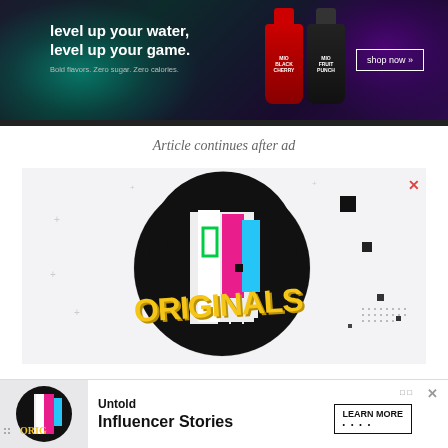[Figure (photo): Top banner advertisement for Mio water enhancer. Dark background with teal smoke on left and purple on right. Text reads: level up your water, level up your game. Bold flavors. Zero sugar. Zero calories. Shows two bottle products (Black Cherry and Fruit Punch) and a shop now button.]
Article continues after ad
[Figure (illustration): TikTok Originals advertisement. Large circular logo with black and white design, colorful vertical bars (green, pink, blue, white), graffiti-style yellow text reading ORIGINALS. White background with geometric decorative elements, small squares and plus signs scattered around. Red X close button in top right.]
[Figure (illustration): Bottom banner advertisement for TikTok Originals Untold Influencer Stories. Shows small thumbnail of Originals logo on left, text Untold Influencer Stories in center, Learn More button on right. X close button top right.]